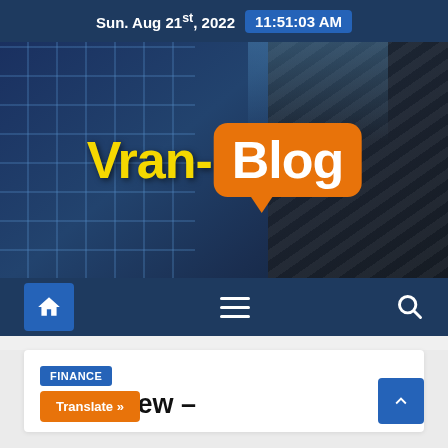Sun. Aug 21st, 2022  11:51:03 AM
[Figure (logo): Vran-Blog website banner logo with yellow 'Vran-' text and white 'Blog' text inside an orange speech bubble, over a dark blue building background]
Navigation bar with home icon, hamburger menu, and search icon
FINANCE
on Review –